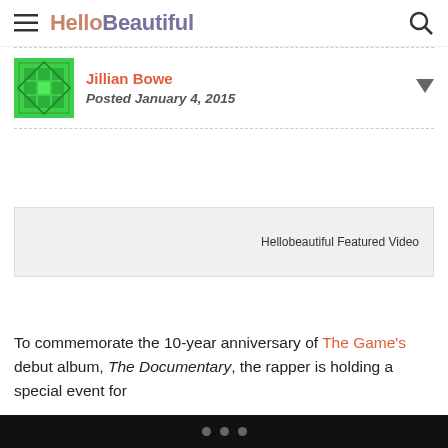HelloBeautiful
Jillian Bowe
Posted January 4, 2015
[Figure (screenshot): Video placeholder box labeled 'Hellobeautiful Featured Video']
To commemorate the 10-year anniversary of The Game's debut album, The Documentary, the rapper is holding a special event for